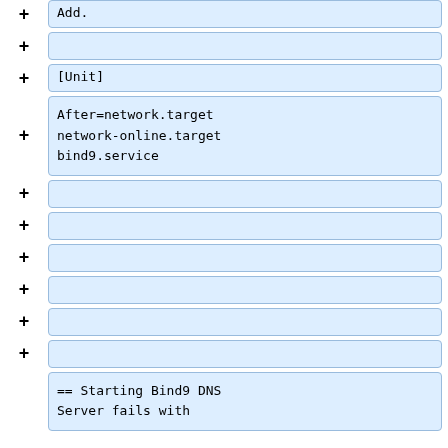Add.
[Unit]
After=network.target network-online.target bind9.service
== Starting Bind9 DNS Server fails with